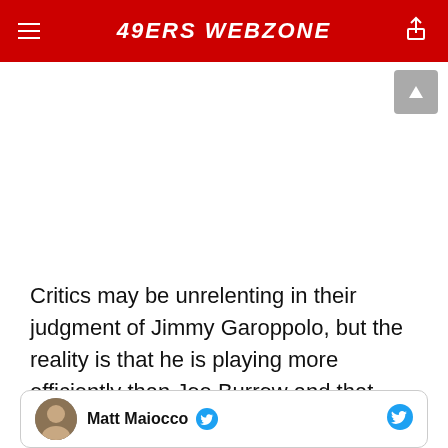49ERS WEBZONE
Critics may be unrelenting in their judgment of Jimmy Garoppolo, but the reality is that he is playing more efficiently than Joe Burrow and that San Francisco ranks higher in rushing and passing efficiency on both sides of the ball compared to the Bengals.